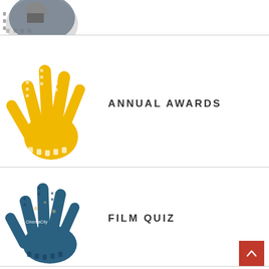[Figure (photo): Partial image of person with helmet, film strip hand shape, cropped at top]
[Figure (illustration): Yellow film strip shaped like a hand pointing, decorative]
ANNUAL AWARDS
[Figure (photo): Cinema City photo shaped like a hand, film strip silhouette]
FILM QUIZ